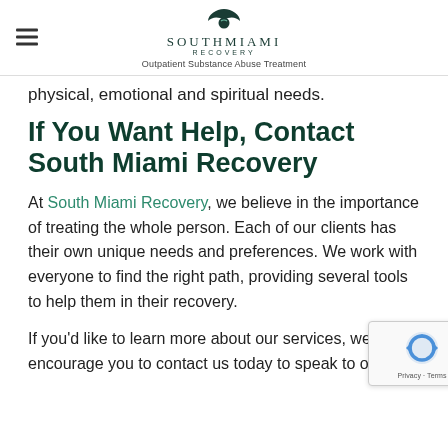South Miami Recovery — Outpatient Substance Abuse Treatment
physical, emotional and spiritual needs.
If You Want Help, Contact South Miami Recovery
At South Miami Recovery, we believe in the importance of treating the whole person. Each of our clients has their own unique needs and preferences. We work with everyone to find the right path, providing several tools to help them in their recovery.
If you'd like to learn more about our services, we encourage you to contact us today to speak to our